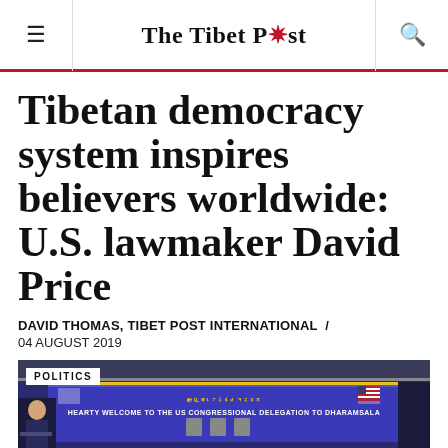≡  The Tibet Post  🔍
Tibetan democracy system inspires believers worldwide: U.S. lawmaker David Price
DAVID THOMAS, TIBET POST INTERNATIONAL  /  04 AUGUST 2019
[Figure (photo): Photo from a political event; banner reads 'Hearty Welcome to the US Congressional Delegation to Dharamsala'. A speaker stands at a podium. POLITICS badge in top-left corner.]